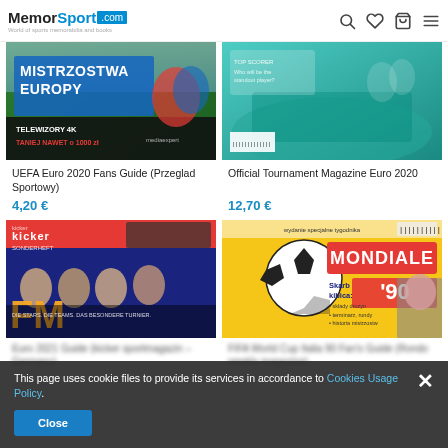MemorSport.com
[Figure (photo): UEFA Euro 2020 Fans Guide (Przeglad Sportowy) product image - soccer/football magazine cover]
UEFA Euro 2020 Fans Guide (Przeglad Sportowy)
4,20 €
[Figure (photo): Official Tournament Magazine Euro 2020 product image - colorful euro 2020 magazine cover]
Official Tournament Magazine Euro 2020
12,70 €
[Figure (photo): Euro 2021 Guide kicker sportmagazin Germany - kicker magazine cover with FM branding]
Euro 2021 Guide (kicker sportmagazin – Germany)
[Figure (photo): FIFA World Cup Italia 90 Fan's Guide (Rondo weekly magazine) - Mondiale 90 magazine cover]
FIFA World Cup Italia 90 Fan's Guide (Rondo weekly magazine)
This page uses cookie files to provide its services in accordance to Cookies Usage Policy.
Close